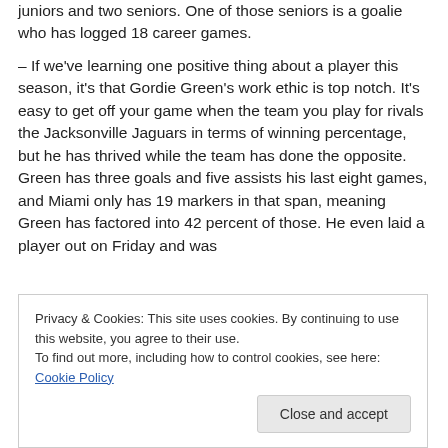juniors and two seniors. One of those seniors is a goalie who has logged 18 career games.
– If we've learning one positive thing about a player this season, it's that Gordie Green's work ethic is top notch. It's easy to get off your game when the team you play for rivals the Jacksonville Jaguars in terms of winning percentage, but he has thrived while the team has done the opposite. Green has three goals and five assists his last eight games, and Miami only has 19 markers in that span, meaning Green has factored into 42 percent of those. He even laid a player out on Friday and was
Privacy & Cookies: This site uses cookies. By continuing to use this website, you agree to their use.
To find out more, including how to control cookies, see here: Cookie Policy